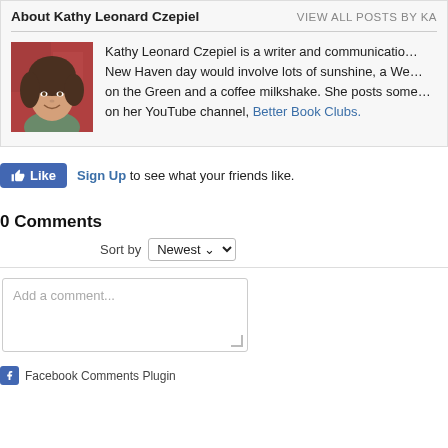About Kathy Leonard Czepiel
VIEW ALL POSTS BY KA
[Figure (photo): Headshot photo of Kathy Leonard Czepiel, a woman with curly brown hair, smiling, wearing a green top, with red/autumn background.]
Kathy Leonard Czepiel is a writer and communication… New Haven day would involve lots of sunshine, a We… on the Green and a coffee milkshake. She posts some… on her YouTube channel, Better Book Clubs.
Sign Up to see what your friends like.
0 Comments
Sort by Newest
Add a comment...
Facebook Comments Plugin